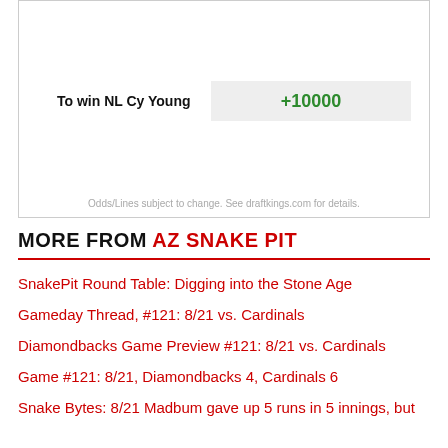|  |  |
| --- | --- |
| To win NL Cy Young | +10000 |
Odds/Lines subject to change. See draftkings.com for details.
MORE FROM AZ SNAKE PIT
SnakePit Round Table: Digging into the Stone Age
Gameday Thread, #121: 8/21 vs. Cardinals
Diamondbacks Game Preview #121: 8/21 vs. Cardinals
Game #121: 8/21, Diamondbacks 4, Cardinals 6
Snake Bytes: 8/21 Madbum gave up 5 runs in 5 innings, but